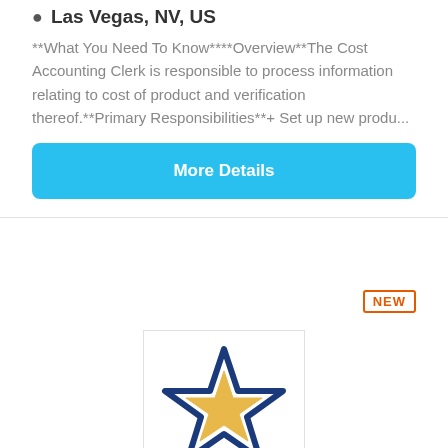Las Vegas, NV, US
**What You Need To Know****Overview**The Cost Accounting Clerk is responsible to process information relating to cost of product and verification thereof.**Primary Responsibilities**+ Set up new produ...
More Details
[Figure (logo): WestStar Credit Union star logo — blue outlined five-pointed star with gold/yellow filled inner star on white background]
Accounting Coordinator
WestStar Credit Union
Las Vegas, NV, US